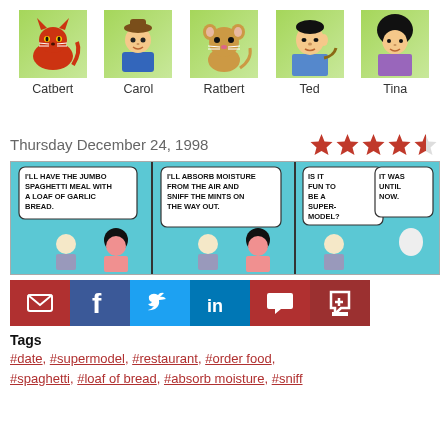[Figure (illustration): Five Dilbert character avatars: Catbert (red cat), Carol, Ratbert (brown rat), Ted, Tina, each with green gradient background]
Catbert  Carol  Ratbert  Ted  Tina
Thursday December 24, 1998
[Figure (illustration): Star rating: 4 full red stars and 1 half red star]
[Figure (illustration): Dilbert comic strip from December 24, 1998, three panels. Panel 1: Character says 'I'LL HAVE THE JUMBO SPAGHETTI MEAL WITH A LOAF OF GARLIC BREAD.' Panel 2: Character says 'I'LL ABSORB MOISTURE FROM THE AIR AND SNIFF THE MINTS ON THE WAY OUT.' Panel 3: Two speech bubbles: 'IS IT FUN TO BE A SUPER-MODEL?' and 'IT WAS UNTIL NOW.']
[Figure (infographic): Six social sharing buttons: email (red), Facebook (dark blue), Twitter (light blue), LinkedIn (blue), comment (dark red), cart (dark red)]
Tags
#date, #supermodel, #restaurant, #order food, #spaghetti, #loaf of bread, #absorb moisture, #sniff